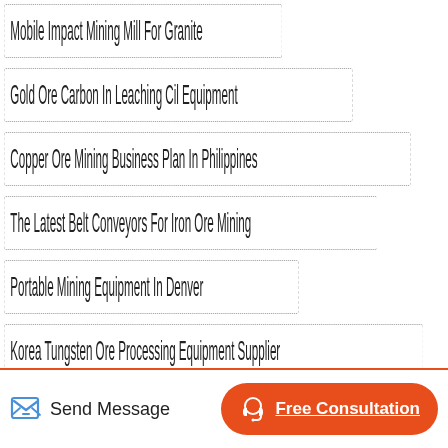Mobile Impact Mining Mill For Granite
Gold Ore Carbon In Leaching Cil Equipment
Copper Ore Mining Business Plan In Philippines
The Latest Belt Conveyors For Iron Ore Mining
Portable Mining Equipment In Denver
Korea Tungsten Ore Processing Equipment Supplier
Iron Ore Processing Machine
Send Message
Free Consultation